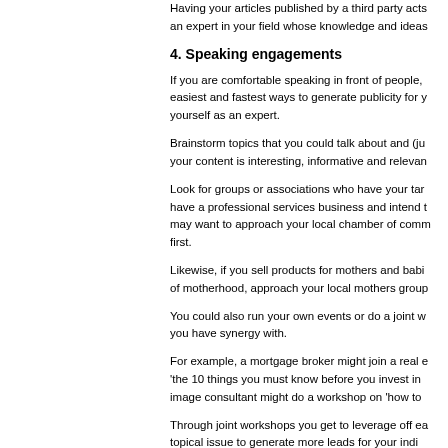Having your articles published by a third party acts as an expert in your field whose knowledge and ideas...
4. Speaking engagements
If you are comfortable speaking in front of people, easiest and fastest ways to generate publicity for y... yourself as an expert.
Brainstorm topics that you could talk about and (ju... your content is interesting, informative and relevan...
Look for groups or associations who have your ta... have a professional services business and intend ... may want to approach your local chamber of comm... first.
Likewise, if you sell products for mothers and babi... of motherhood, approach your local mothers group...
You could also run your own events or do a joint w... you have synergy with.
For example, a mortgage broker might join a real e... 'the 10 things you must know before you invest in... image consultant might do a workshop on 'how to...
Through joint workshops you get to leverage off ea... topical issue to generate more leads for your indi...